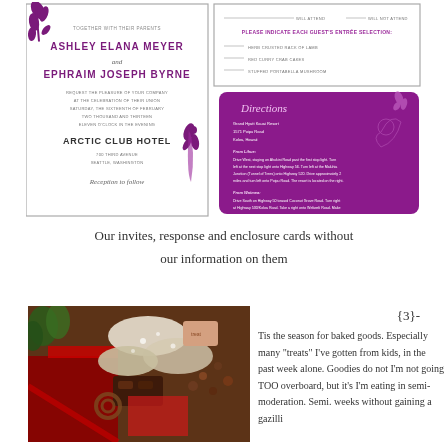[Figure (illustration): Wedding invitation suite showing: left card with purple floral decoration and text for Ashley Elana Meyer and Ephraim Joseph Byrne at Arctic Club Hotel Seattle; top right RSVP card with entrée selections; bottom right purple directions card for Grand Hyatt Kauai Resort]
Our invites, response and enclosure cards without
our information on them
[Figure (photo): Photo of assorted holiday baked goods and treats in red boxes with ribbons]
{3}- Tis the season for baked goods. Especially many "treats" I've gotten from kids, in the past week alone. Goodies do not I'm not going TOO overboard, but it's I'm eating in semi-moderation. Semi. weeks without gaining a gazilli